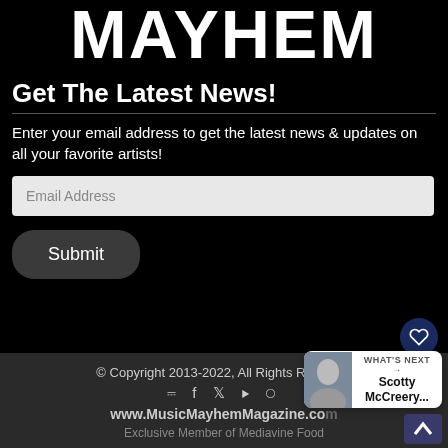MAYHEM
Get The Latest News!
Enter your email address to get the latest news & updates on all your favorite artists!
Email Address
Submit
© Copyright 2013-2022, All Rights Reserved
www.MusicMayhemMagazine.com
Exclusive Member of Mediavine Food
WHAT'S NEXT → Scotty McCreery...